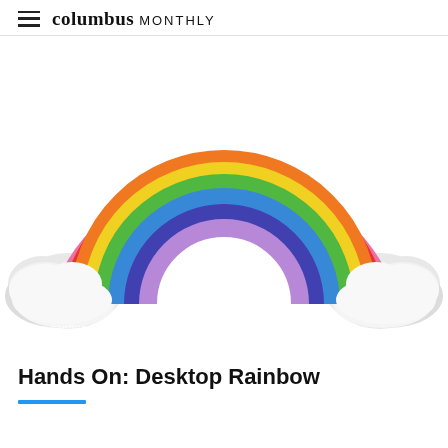columbus MONTHLY
[Figure (photo): A colorful desktop rainbow toy made of arched bands in rainbow colors (red, orange, yellow, green, blue, indigo, violet/purple, and pink) with white cloud-shaped bases on each end, photographed on a white background.]
Show caption +
Hands On: Desktop Rainbow